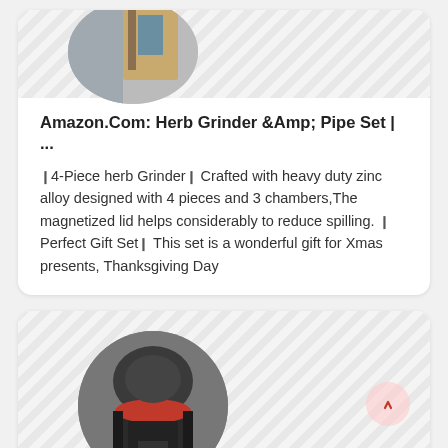[Figure (photo): Circular cropped thumbnail showing a grinder/herb machine image on a hatched background]
Amazon.Com: Herb Grinder &Amp; Pipe Set | ...
❙4-Piece herb Grinder❙ Crafted with heavy duty zinc alloy designed with 4 pieces and 3 chambers,The magnetized lid helps considerably to reduce spilling. ❙Perfect Gift Set❙ This set is a wonderful gift for Xmas presents, Thanksgiving Day
[Figure (photo): Circular cropped thumbnail of a large industrial cone crusher/grinder machine (dark grey and red) on a hatched background]
1PC Electric Torch Grinder Crusher Tobacco P...
Cheap Tobacco Pipes &amp; Accessories, Buy ...